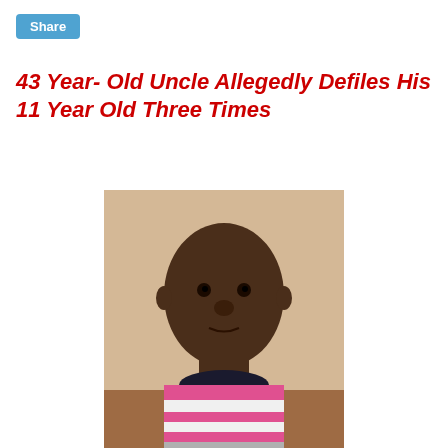Share
43 Year- Old Uncle Allegedly Defiles His 11 Year Old Three Times
[Figure (photo): Mugshot-style photo of a man wearing a pink and white striped shirt with a dark collar, standing against a beige/yellow wall. He appears to be a middle-aged African man looking directly at the camera.]